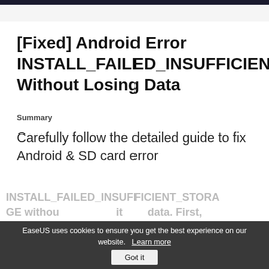[Fixed] Android Error INSTALL_FAILED_INSUFFICIENT_STORAGE Without Losing Data
Summary
Carefully follow the detailed guide to fix Android & SD card error
EaseUS uses cookies to ensure you get the best experience on our website. Learn more  Got it